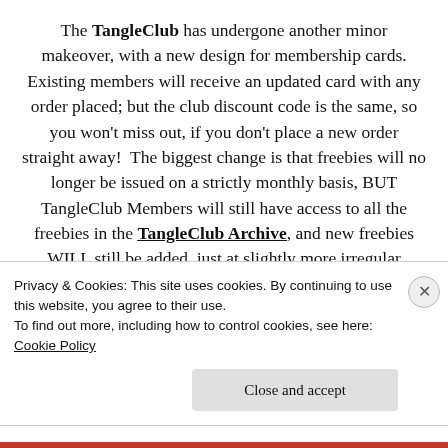The TangleClub has undergone another minor makeover, with a new design for membership cards. Existing members will receive an updated card with any order placed; but the club discount code is the same, so you won't miss out, if you don't place a new order straight away!  The biggest change is that freebies will no longer be issued on a strictly monthly basis, BUT TangleClub Members will still have access to all the freebies in the TangleClub Archive, and new freebies WILL still be added, just at slightly more irregular intervals.  This is mostly to ensure that the free stuff shared is good stuff, and
Privacy & Cookies: This site uses cookies. By continuing to use this website, you agree to their use.
To find out more, including how to control cookies, see here: Cookie Policy